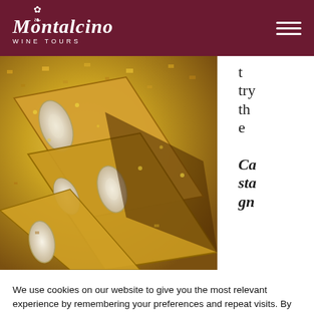Montalcino Wine Tours
[Figure (photo): Close-up photo of Italian almond biscotti (cantuccini) with visible almond slices, golden-yellow crumb texture, arranged overlapping. Partially obscured text on right side reading 'try the Castagn']
We use cookies on our website to give you the most relevant experience by remembering your preferences and repeat visits. By clicking “Accept”, you consent to the use of ALL the cookies.
Cookie settings   ACCEPT